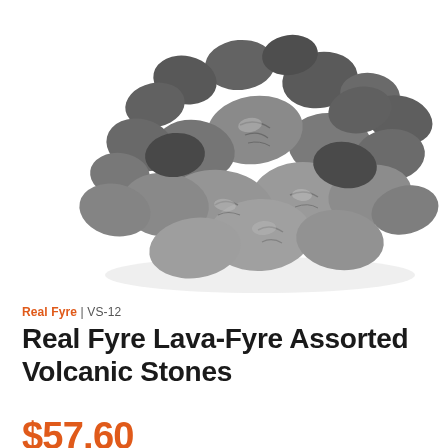[Figure (photo): A pile of assorted gray and dark volcanic lava rocks/stones on a white background]
Real Fyre | VS-12
Real Fyre Lava-Fyre Assorted Volcanic Stones
$57.60